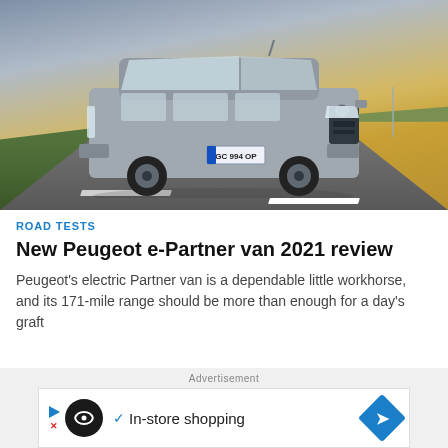[Figure (photo): Peugeot e-Partner van driving on a road with green fields and dramatic golden sky in the background. License plate reads GC 994 OP.]
ROAD TESTS
New Peugeot e-Partner van 2021 review
Peugeot's electric Partner van is a dependable little workhorse, and its 171-mile range should be more than enough for a day's graft
Advertisement
[Figure (screenshot): Advertisement banner with circular logo, checkmark, In-store shopping text, and blue diamond arrow icon]